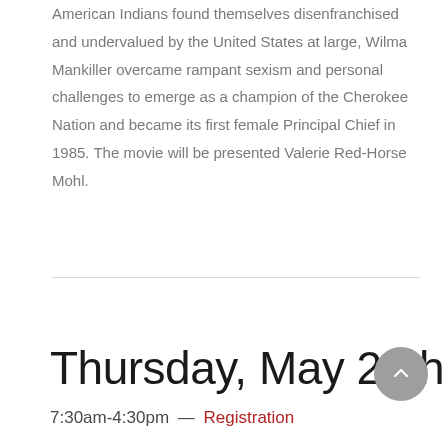American Indians found themselves disenfranchised and undervalued by the United States at large, Wilma Mankiller overcame rampant sexism and personal challenges to emerge as a champion of the Cherokee Nation and became its first female Principal Chief in 1985. The movie will be presented Valerie Red-Horse Mohl.
Thursday, May 26th
7:30am-4:30pm  —  Registration